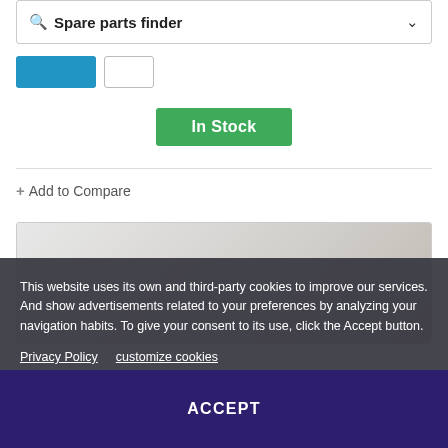Spare parts finder
[Figure (screenshot): Blue button and grey outline button in a row]
In Stock
+ Add to Compare
[Figure (screenshot): Product image box with light grey background]
This website uses its own and third-party cookies to improve our services. And show advertisements related to your preferences by analyzing your navigation habits. To give your consent to its use, click the Accept button.
Privacy Policy   customize cookies
ACCEPT